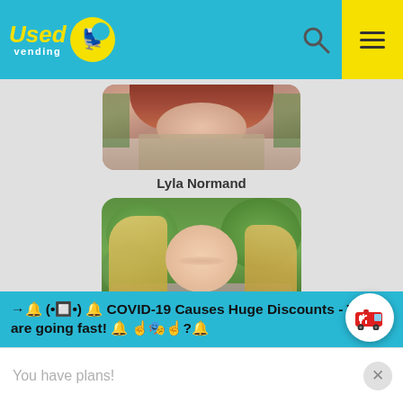[Figure (screenshot): UsedVending website navigation bar with logo on left and search/menu icons on right]
[Figure (photo): Partial photo of a woman with reddish-brown hair, cropped at top]
Lyla Normand
[Figure (photo): Photo of a smiling middle-aged woman with long blonde hair outdoors with green foliage background]
Melissa Powers
→🔔 (•☐•) 🔔 COVID-19 Causes Huge Discounts - These are going fast! 🔔 ☝🎭☝?🔔
You have plans!